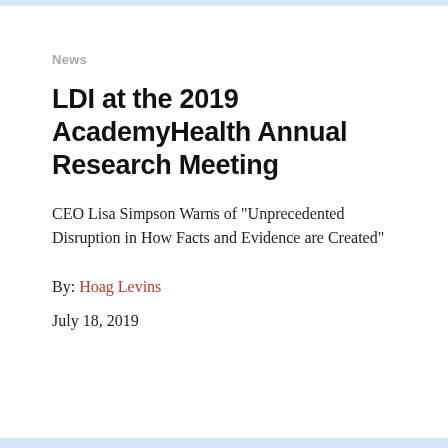News
LDI at the 2019 AcademyHealth Annual Research Meeting
CEO Lisa Simpson Warns of "Unprecedented Disruption in How Facts and Evidence are Created"
By: Hoag Levins
July 18, 2019